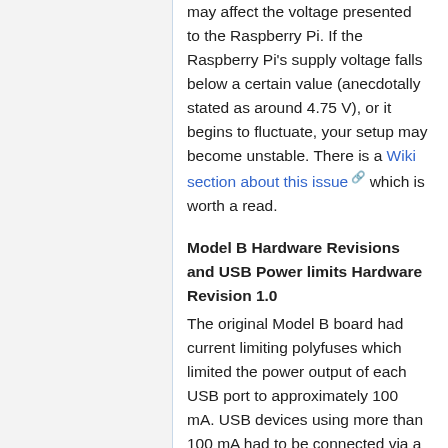may affect the voltage presented to the Raspberry Pi. If the Raspberry Pi's supply voltage falls below a certain value (anecdotally stated as around 4.75 V), or it begins to fluctuate, your setup may become unstable. There is a Wiki section about this issue which is worth a read.
Model B Hardware Revisions and USB Power limits Hardware Revision 1.0
The original Model B board had current limiting polyfuses which limited the power output of each USB port to approximately 100 mA. USB devices using more than 100 mA had to be connected via a powered hub. The